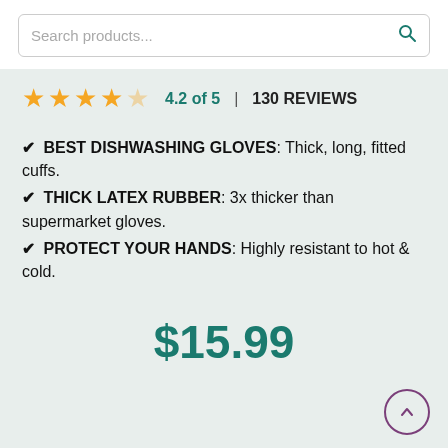[Figure (screenshot): Search products input bar with magnifying glass icon]
4.2 of 5 | 130 REVIEWS (with 4 filled stars and 1 empty star)
✔ BEST DISHWASHING GLOVES: Thick, long, fitted cuffs.
✔ THICK LATEX RUBBER: 3x thicker than supermarket gloves.
✔ PROTECT YOUR HANDS: Highly resistant to hot & cold.
$15.99